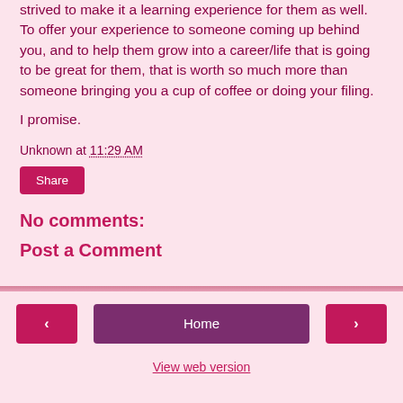strived to make it a learning experience for them as well. To offer your experience to someone coming up behind you, and to help them grow into a career/life that is going to be great for them, that is worth so much more than someone bringing you a cup of coffee or doing your filing.
I promise.
Unknown at 11:29 AM
Share
No comments:
Post a Comment
< Home > View web version